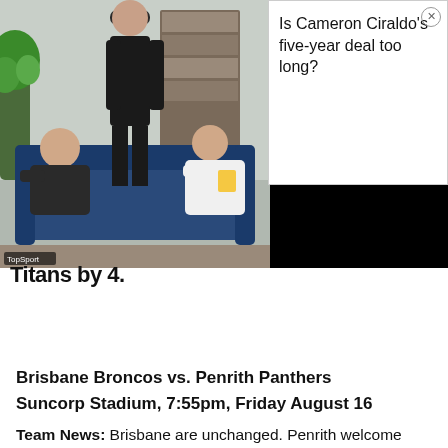[Figure (photo): Screenshot of a sports TV show with people on a couch and a standing figure, with a TopSport watermark in the bottom left]
Is Cameron Ciraldo's five-year deal too long?
Titans by 4.
Brisbane Broncos vs. Penrith Panthers
Suncorp Stadium, 7:55pm, Friday August 16
Team News: Brisbane are unchanged. Penrith welcome back James Maloney in place of debutant Matt Burton.
Prediction: Another must win for both teams. These clubs are teetering on the edge of finals football. Generally Broncos to Penrith and Bri...